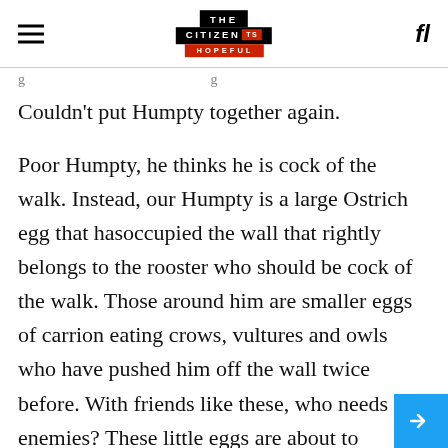THE CITIZEN IS HOPEFUL
Couldn't put Humpty together again.
Poor Humpty, he thinks he is cock of the walk. Instead, our Humpty is a large Ostrich egg that hasoccupied the wall that rightly belongs to the rooster who should be cock of the walk. Those around him are smaller eggs of carrion eating crows, vultures and owls who have pushed him off the wall twice before. With friends like these, who needs enemies? These little eggs are about to become small fries and prove the adage: “It is more dangerous to have stupid friends than intelligent enemies.”